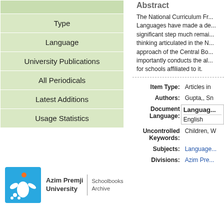| Type |
| Language |
| University Publications |
| All Periodicals |
| Latest Additions |
| Usage Statistics |
[Figure (logo): Azim Premji University logo with Schoolbooks Archive text]
Abstract
The National Curriculum Fr... Languages have made a de... significant step much remai... thinking articulated in the N... approach of the Central Bo... importantly conducts the al... for schools affiliated to it.
| Item Type: | Articles in |
| Authors: | Gupta,, Sn |
| Document Language: | Language
English |
| Uncontrolled Keywords: | Children, W |
| Subjects: | Language |
| Divisions: | Azim Pre |